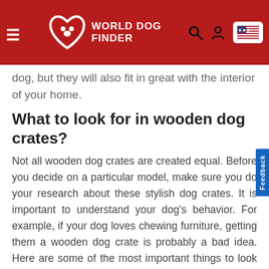World Dog Finder
dog, but they will also fit in great with the interior of your home.
What to look for in wooden dog crates?
Not all wooden dog crates are created equal. Before you decide on a particular model, make sure you do your research about these stylish dog crates. It is important to understand your dog's behavior. For example, if your dog loves chewing furniture, getting them a wooden dog crate is probably a bad idea. Here are some of the most important things to look for in wooden dog crates;
Size